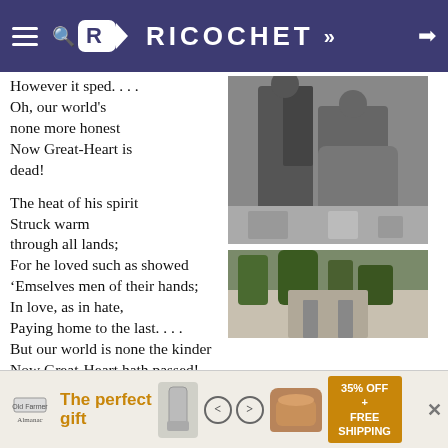RICOCHET
However it sped. . . .
Oh, our world's
none more honest
Now Great-Heart is
dead!

The heat of his spirit
Struck warm through all lands;
For he loved such as showed
'Emselves men of their hands;
In love, as in hate,
Paying home to the last. . . .
But our world is none the kinder
Now Great-Heart hath passed!

Hard-schooled by long power,
Yet most humble of
[Figure (photo): Black and white photo of a man and woman standing together, likely from mid-20th century]
[Figure (photo): Photo of green plants/garden with a building in the background]
[Figure (advertisement): Advertisement banner: The perfect gift - 35% OFF + FREE SHIPPING]